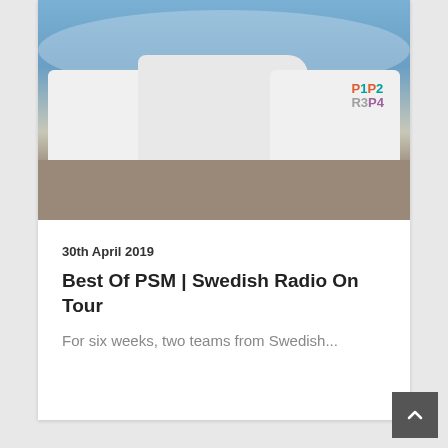[Figure (photo): Group photo of approximately 15 people standing in front of two white motorhomes/vans branded with P1, P2, R3, P4 Sveriges Radio logos, outdoors on a cobblestone area under a blue sky with clouds.]
30th April 2019
Best Of PSM | Swedish Radio On Tour
For six weeks, two teams from Swedish...